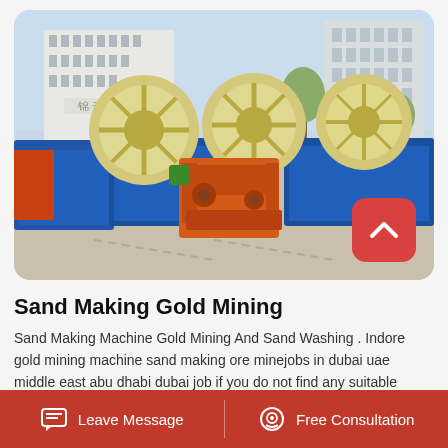[Figure (photo): Outdoor industrial yard showing multiple large blue container basins with cream/yellow wheel-shaped sand washing machines and an orange sand washing machine in the foreground. A multi-story white building with Chinese characters is visible in the background, along with trees and a clear sky.]
Sand Making Gold Mining
Sand Making Machine Gold Mining And Sand Washing . Indore gold mining machine sand making ore minejobs in dubai uae middle east abu dhabi dubai job if you do not find any suitable
Leave Message   Free Consultation